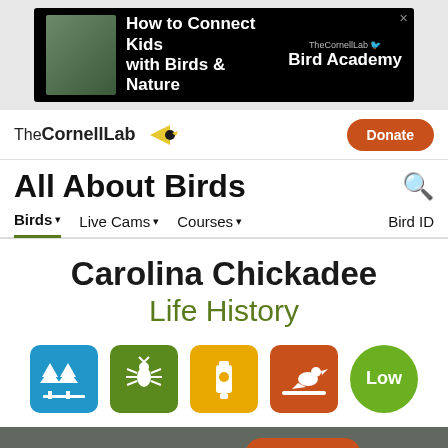[Figure (screenshot): Advertisement banner for TheCornellLab Bird Academy: 'How to Connect Kids with Birds & Nature']
TheCornellLab [bird logo] | Donate
All About Birds
Birds  Live Cams  Courses  Bird ID
Carolina Chickadee
Life History
[Figure (illustration): Five icons: blue trees icon, green insect/ant icon, yellow feeder icon, orange bird-on-branch icon, green circle with 'Low' text]
Need Bird ID Help?  Try Merlin
Overview  ID info  Life History  Maps  Sounds